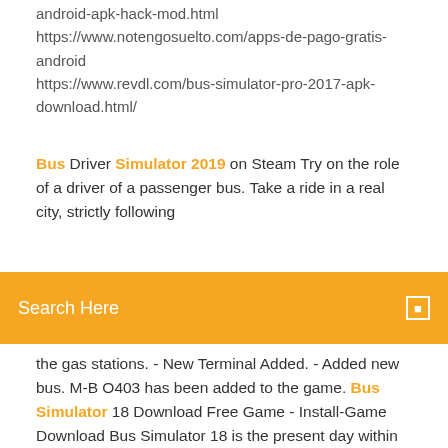android-apk-hack-mod.html
https://www.notengosuelto.com/apps-de-pago-gratis-android
https://www.revdl.com/bus-simulator-pro-2017-apk-download.html/
Bus Driver Simulator 2019 on Steam Try on the role of a driver of a passenger bus. Take a ride in a real city, strictly following
Search Here
the gas stations. - New Terminal Added. - Added new bus. M-BO403 has been added to the game. Bus Simulator 18 Download Free Game - Install-Game Download Bus Simulator 18 is the present day within the Bus Simulator game series which has introduced some of enhancements. Descargar Yander Simulator Online Gratis 2019
Bus Simulator 2015 2.3 para Android - Descargar
Si deseas descargar la APK para android Play yandere simulator